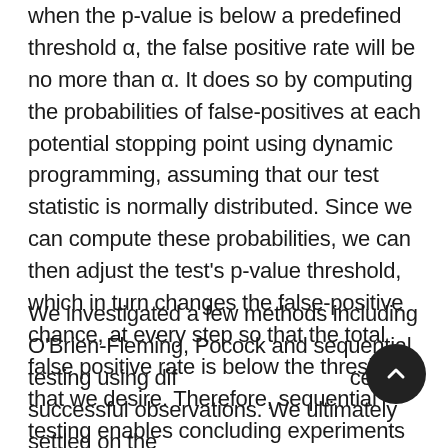when the p-value is below a predefined threshold α, the false positive rate will be no more than α. It does so by computing the probabilities of false-positives at each potential stopping point using dynamic programming, assuming that our test statistic is normally distributed. Since we can compute these probabilities, we can then adjust the test's p-value threshold, which in turn changes the false-positive chance, at every step so that the total false positive rate is below the threshold that we desire. Therefore, sequential testing enables concluding experiments as soon as the data justifies it, while also keeping our false positive rate in check.
We investigated a few methods including O'Brien-Fleming, Pocock and sequential testing using difference in successful observations. We ultimately settled on the